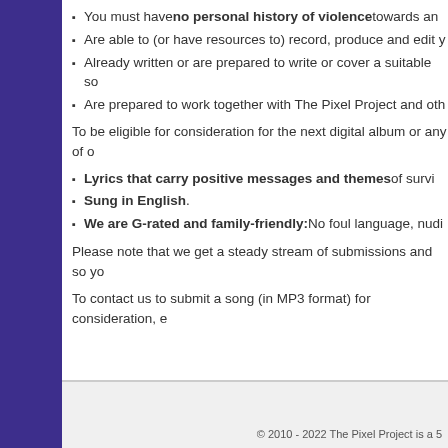You must have no personal history of violence towards an
Are able to (or have resources to) record, produce and edit y
Already written or are prepared to write or cover a suitable so
Are prepared to work together with The Pixel Project and oth
To be eligible for consideration for the next digital album or any of o
Lyrics that carry positive messages and themes of survi
Sung in English.
We are G-rated and family-friendly: No foul language, nudi
Please note that we get a steady stream of submissions and so yo
To contact us to submit a song (in MP3 format) for consideration, e
© 2010 - 2022 The Pixel Project is a 5